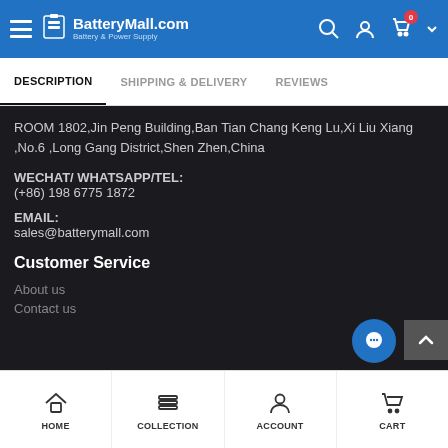BatteryMall.com Battery & Power Supply
DESCRIPTION | SHIPPING & DELIVERY | REVIEWS
ROOM 1802,Jin Peng Building,Ban Tian Chang Keng Lu,Xi Liu Xiang ,No.6 ,Long Gang District,Shen Zhen,China
WECHAT/ WHATSAPP/TEL:
(+86) 198 6775 1872
EMAIL:
sales@batterymall.com
Customer Service
About us
Contact us
HOME | COLLECTION | ACCOUNT | CART